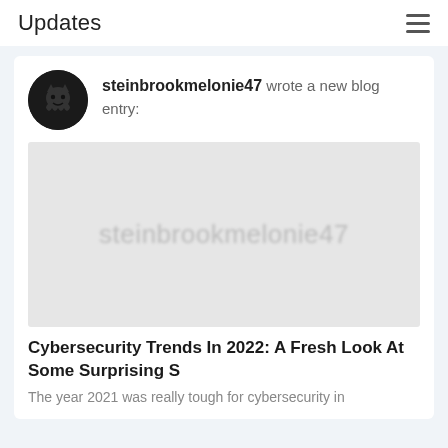Updates
steinbrookmelonie47 wrote a new blog entry:
[Figure (photo): Placeholder blog post thumbnail image with watermark text 'steinbrookmelonie47' on a light grey background]
Cybersecurity Trends In 2022: A Fresh Look At Some Surprising S
The year 2021 was really tough for cybersecurity in